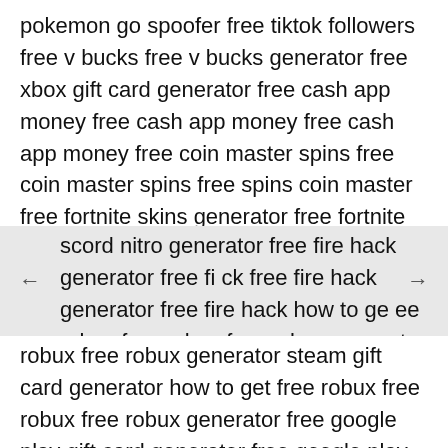pokemon go spoofer free tiktok followers free v bucks free v bucks generator free xbox gift card generator free cash app money free cash app money free cash app money free coin master spins free coin master spins free spins coin master free fortnite skins generator free fortnite skins free fortnite skins generator free fortnite skins free cash app money free
scord nitro generator free fire hack generator free fi ck free fire hack generator free fire hack how to ge ee robux free robux free robux generator free psn des generator free robux free robux generator free
robux free robux generator steam gift card generator how to get free robux free robux free robux generator free google play gift card generator free google play gift card generator free pokemon go spoofer free tiktok followers free v bucks free v bucks generator free xbox gift card generator free cash app money source free cash app money free cash app money free coin